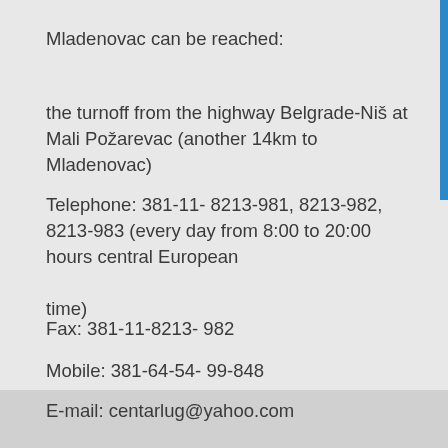Mladenovac can be reached:
the turnoff from the highway Belgrade-Niš at Mali Požarevac (another 14km to Mladenovac)
Telephone: 381-11- 8213-981, 8213-982, 8213-983 (every day from 8:00 to 20:00 hours central European time)
Fax: 381-11-8213- 982
Mobile: 381-64-54- 99-848
E-mail: centarlug@yahoo.com